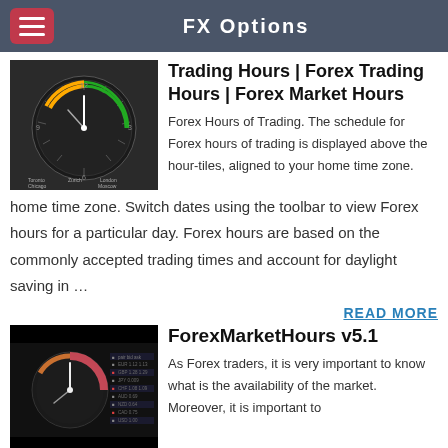FX Options
Trading Hours | Forex Trading Hours | Forex Market Hours
Forex Hours of Trading. The schedule for Forex hours of trading is displayed above the hour-tiles, aligned to your home time zone. Switch dates using the toolbar to view Forex hours for a particular day. Forex hours are based on the commonly accepted trading times and account for daylight saving in …
READ MORE
ForexMarketHours v5.1
As Forex traders, it is very important to know what is the availability of the market. Moreover, it is important to understand how do the different trading hours or sessions impact